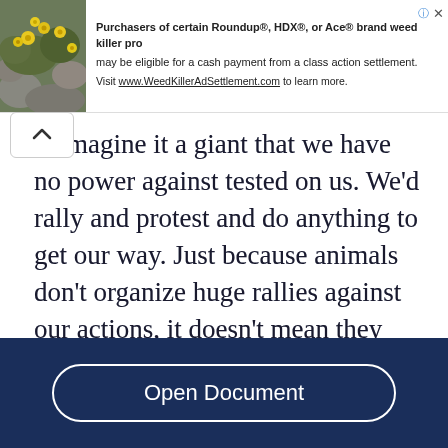[Figure (other): Advertisement banner: image of yellow flowers on rocks on the left, text about Roundup/HDX/Ace weed killer class action settlement on the right, with link to WeedKillerAdSettlement.com]
s. Imagine it a giant that we have no power against tested on us. We'd rally and protest and do anything to get our way. Just because animals don't organize huge rallies against our actions, it doesn't mean they don't feel pain. By now you're probably wondering, Hasn't anyone done anything about this? We get mad at the slightest of things, so surely
Read More
Open Document